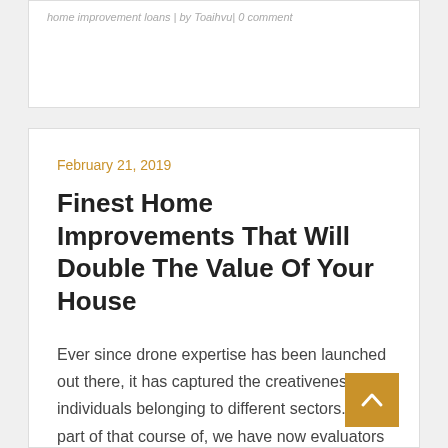home improvement loans | by Toaihvu| 0 comment
February 21, 2019
Finest Home Improvements That Will Double The Value Of Your House
Ever since drone expertise has been launched out there, it has captured the creativeness of individuals belonging to different sectors. As a part of that course of, we have now evaluators—real individuals who assess the standard of Google's search results—give us suggestions on our experiments. Investment in the restoration and preservation of natural capital has resulted in improvements on the nationwide level in